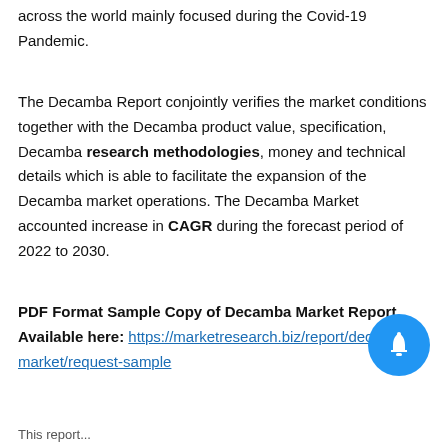across the world mainly focused during the Covid-19 Pandemic.
The Decamba Report conjointly verifies the market conditions together with the Decamba product value, specification, Decamba research methodologies, money and technical details which is able to facilitate the expansion of the Decamba market operations. The Decamba Market accounted increase in CAGR during the forecast period of 2022 to 2030.
PDF Format Sample Copy of Decamba Market Report, Available here: https://marketresearch.biz/report/decamba-market/request-sample
This report...